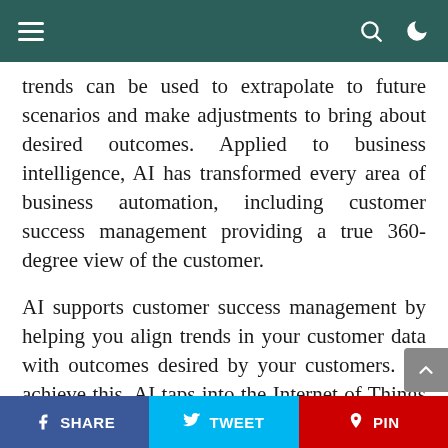trends can be used to extrapolate to future scenarios and make adjustments to bring about desired outcomes. Applied to business intelligence, AI has transformed every area of business automation, including customer success management providing a true 360-degree view of the customer.
AI supports customer success management by helping you align trends in your customer data with outcomes desired by your customers. To achieve this, AI taps into the Internet of Things to review customer data collected from all your
SHARE   TWEET   PIN